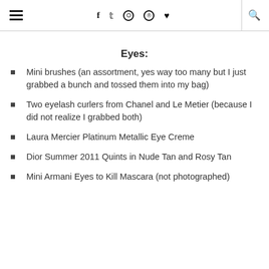≡  f  𝕥  ⊙  ℗  ♥  |  🔍
Eyes:
Mini brushes (an assortment, yes way too many but I just grabbed a bunch and tossed them into my bag)
Two eyelash curlers from Chanel and Le Metier (because I did not realize I grabbed both)
Laura Mercier Platinum Metallic Eye Creme
Dior Summer 2011 Quints in Nude Tan and Rosy Tan
Mini Armani Eyes to Kill Mascara (not photographed)